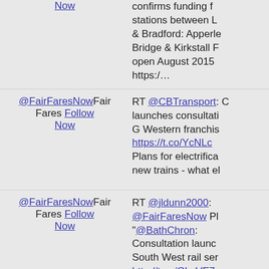Now | confirms funding for stations between L & Bradford: Apperle Bridge & Kirkstall F open August 2015 https:/...
@FairFaresNow Fair Fares Follow Now | RT @CBTransport: launches consultation G Western franchise https://t.co/YcNLc Plans for electrifica new trains - what el
@FairFaresNow Fair Fares Follow Now | RT @jldunn2000: @FairFaresNow Pl "@BathChron: Consultation launch South West rail ser http://t.co/GkgVE7 http://t.co/aiToY